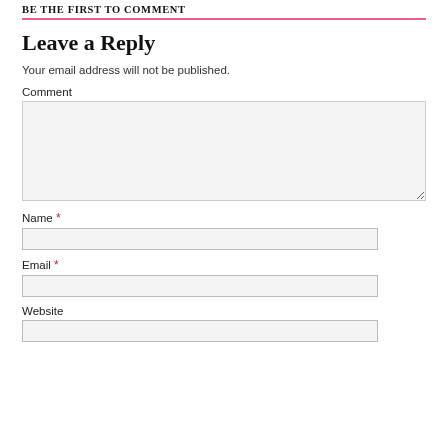BE THE FIRST TO COMMENT
Leave a Reply
Your email address will not be published.
Comment
Name *
Email *
Website